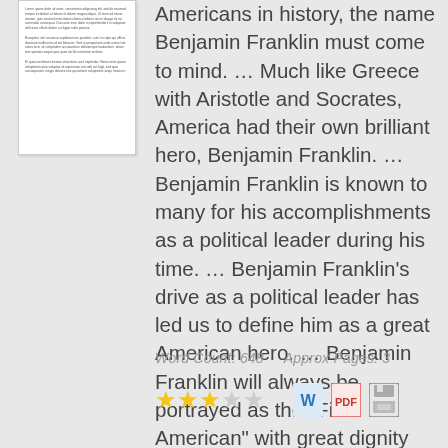[Figure (illustration): Thumbnail preview of a document page with small unreadable text]
Americans in history, the name Benjamin Franklin must come to mind. … Much like Greece with Aristotle and Socrates, America had their own brilliant hero, Benjamin Franklin. … Benjamin Franklin is known to many for his accomplishments as a political leader during his time. … Benjamin Franklin's drive as a political leader has led us to define him as a great American hero. … Benjamin Franklin will always be portrayed as the "First American" with great dignity and respect. …
Word Count: 648    Approx Pages: 3
[Figure (infographic): 3 out of 5 stars rating, followed by Word document icon, PDF icon, and save/disk icon]